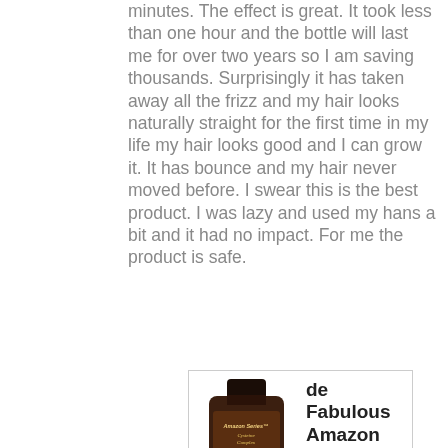minutes. The effect is great. It took less than one hour and the bottle will last me for over two years so I am saving thousands. Surprisingly it has taken away all the frizz and my hair looks naturally straight for the first time in my life my hair looks good and I can grow it. It has bounce and my hair never moved before. I swear this is the best product. I was lazy and used my hans a bit and it had no impact. For me the product is safe.
[Figure (photo): Product card showing a dark brown bottle labeled 'Amazon Series Cysteine Complex' alongside the text 'de Fabulous Amazon Series']